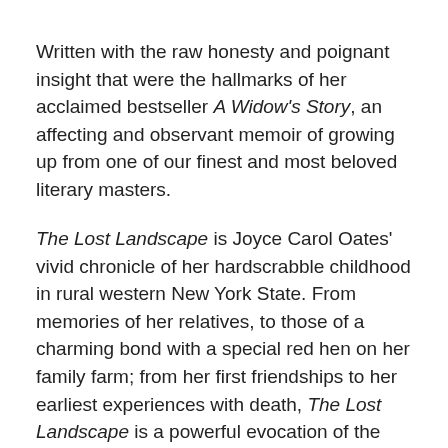Written with the raw honesty and poignant insight that were the hallmarks of her acclaimed bestseller A Widow's Story, an affecting and observant memoir of growing up from one of our finest and most beloved literary masters.
The Lost Landscape is Joyce Carol Oates' vivid chronicle of her hardscrabble childhood in rural western New York State. From memories of her relatives, to those of a charming bond with a special red hen on her family farm; from her first friendships to her earliest experiences with death, The Lost Landscape is a powerful evocation of the romance of childhood, and its indelible influence on the woman and the writer she would become.